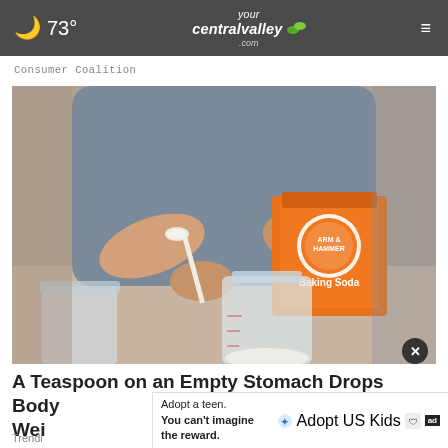☾ 73° | yourcentralvalley.com
Consumer Coalition
[Figure (photo): Person holding an Arm & Hammer Baking Soda box and spooning white powder into a mason jar on a kitchen counter]
A Teaspoon on an Empty Stomach Drops Body Weight
Trending
Adopt a teen. You can't imagine the reward. — Adopt US Kids ad